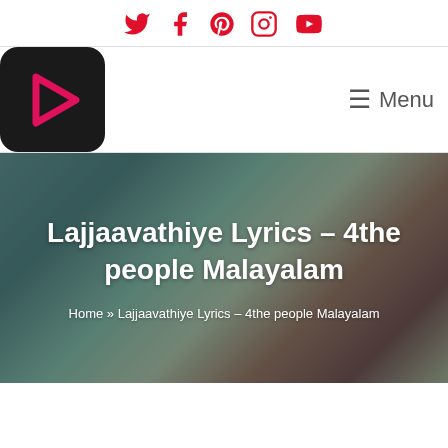Social icons: Twitter, Facebook, Pinterest, Instagram, YouTube
[Figure (logo): Website logo: dark rounded square with pink play button triangle icon]
☰ Menu
Lajjaavathiye Lyrics – 4the people Malayalam
Home » Lajjaavathiye Lyrics – 4the people Malayalam